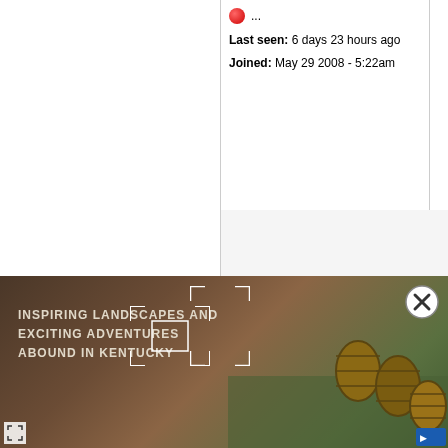Offline
Last seen: 6 days 23 hours ago
Joined: May 29 2008 - 5:22am
September 29, 2010 - 11:52am
Jason Murray
[Figure (illustration): Default user avatar - grey silhouette person icon]
Offline
Last seen: 10 years 4 months ago
Joined: Apr 22 2009 - 3:49pm
i understand the a speed limit. its saf the spot she was w plenty of time and
[Figure (photo): Advertisement banner: outdoor Kentucky landscape with wooden barrels. Text: INSPIRING LANDSCAPES AND EXCITING ADVENTURES ABOUND IN KENTUCKY]